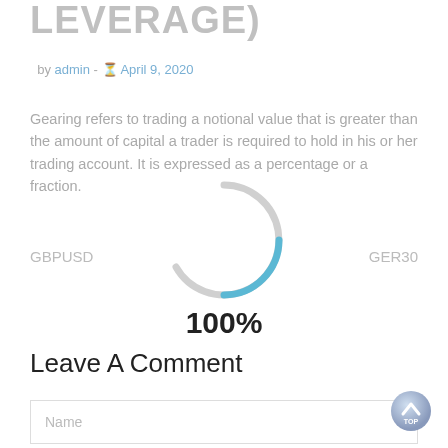LEVERAGE)
by admin - April 9, 2020
Gearing refers to trading a notional value that is greater than the amount of capital a trader is required to hold in his or her trading account. It is expressed as a percentage or a fraction.
[Figure (other): Circular loading spinner, partially blue and partially gray, showing 100% load state]
100%
GBPUSD
GER30
Leave A Comment
Name